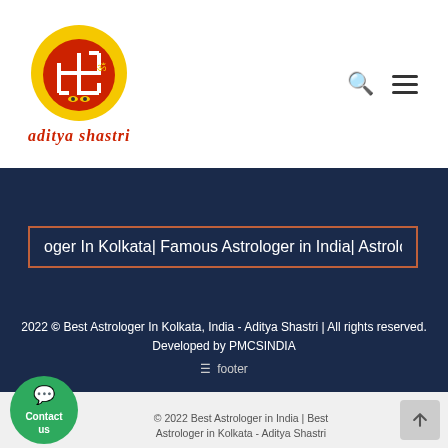[Figure (logo): Aditya Shastri astrology logo — red circular emblem with swastika, Om symbol, trident and religious imagery, surrounded by golden sun rays, with 'aditya shastri' text in red below]
oger In Kolkata| Famous Astrologer in India| Astrologer in Kolkata
2022 © Best Astrologer In Kolkata, India - Aditya Shastri | All rights reserved. Developed by PMCSINDIA
footer
Contact us
© 2022 Best Astrologer in India | Best Astrologer in Kolkata - Aditya Shastri